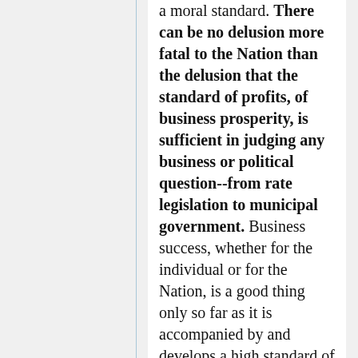a moral standard. There can be no delusion more fatal to the Nation than the delusion that the standard of profits, of business prosperity, is sufficient in judging any business or political question--from rate legislation to municipal government. Business success, whether for the individual or for the Nation, is a good thing only so far as it is accompanied by and develops a high standard of conduct--honor, integrity, civic courage. The kind of